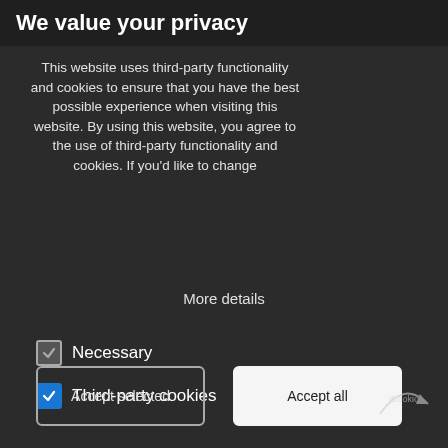We value your privacy
This website uses third-party functionality and cookies to ensure that you have the best possible experience when visiting this website. By using this website, you agree to the use of third-party functionality and cookies. If you'd like to change
More details
Necessary
Third-party cookies
Accept selected
Accept all